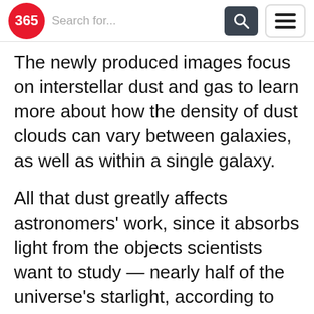365 | Search for...
The newly produced images focus on interstellar dust and gas to learn more about how the density of dust clouds can vary between galaxies, as well as within a single galaxy.
All that dust greatly affects astronomers' work, since it absorbs light from the objects scientists want to study — nearly half of the universe's starlight, according to the statement.
Because it contains a range of heavier elements, like those that